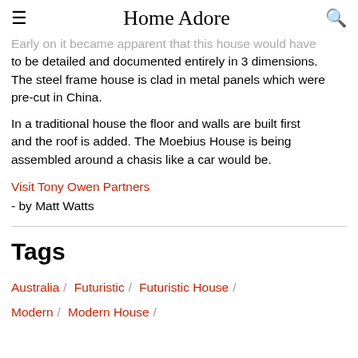Home Adore
Early on it became apparent that this house would have to be detailed and documented entirely in 3 dimensions. The steel frame house is clad in metal panels which were pre-cut in China.
In a traditional house the floor and walls are built first and the roof is added. The Moebius House is being assembled around a chasis like a car would be.
Visit Tony Owen Partners
- by Matt Watts
Tags
Australia / Futuristic / Futuristic House / Modern / Modern House /